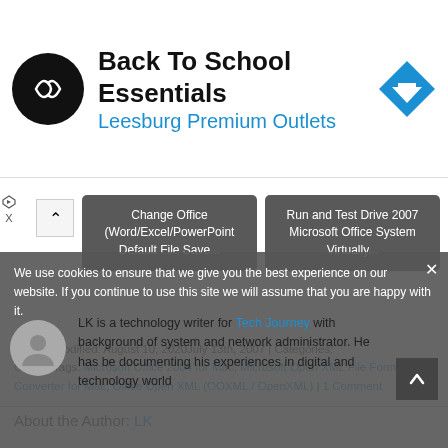[Figure (logo): Black circular logo with white infinity/arrow symbol, and blue diamond navigation arrow on right]
Back To School Essentials
Leesburg Premium Outlets
[Figure (illustration): Two grey rounded rectangle navigation buttons: 'Change Office (Word/Excel/PowerPoint Default File Save...' and 'Run and Test Drive 2007 Microsoft Office System Virtually...']
By LK | Modified: August 10, 2020July 13th, 2007 | Categories: Office | Tags: Microsoft Office 2004 for Mac, Microsoft Open XML File Format Converter for Mac, Office Open XML (OOXML / OpenXML) | 1 Comment
About the Author: LK
We use cookies to ensure that we give you the best experience on our website. If you continue to use this site we will assume that you are happy with it.
LK is a technology writer for Tech Journey with background of system and network administrator. He has be documenting his experiences in digital and technology world